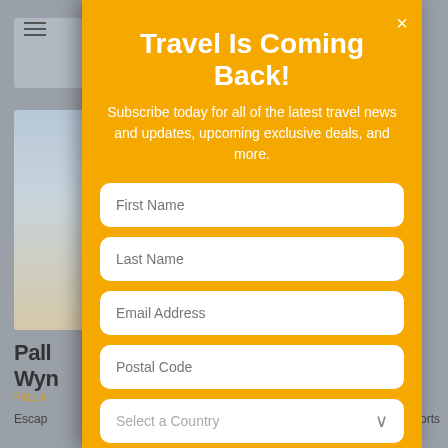[Figure (screenshot): Background of a travel website with blurred images and partial text visible behind the modal overlay]
Travel Is Coming Back!
Subscribe today for all of the latest travel news and updates, upcoming exclusive deals, and more.
First Name
Last Name
Email Address
Postal Code
Select a Country
What Best Describes You?
Travel Agent
Travel Supplier
Traveler